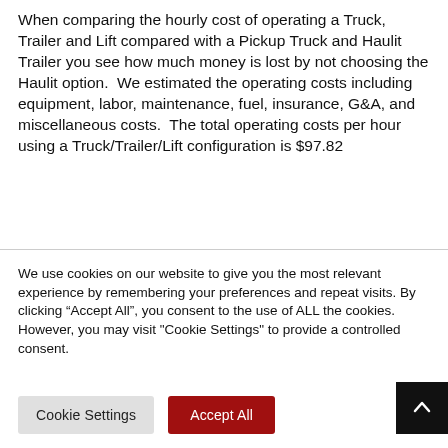When comparing the hourly cost of operating a Truck, Trailer and Lift compared with a Pickup Truck and Haulit Trailer you see how much money is lost by not choosing the Haulit option.  We estimated the operating costs including equipment, labor, maintenance, fuel, insurance, G&A, and miscellaneous costs.  The total operating costs per hour using a Truck/Trailer/Lift configuration is $97.82
We use cookies on our website to give you the most relevant experience by remembering your preferences and repeat visits. By clicking “Accept All”, you consent to the use of ALL the cookies. However, you may visit "Cookie Settings" to provide a controlled consent.